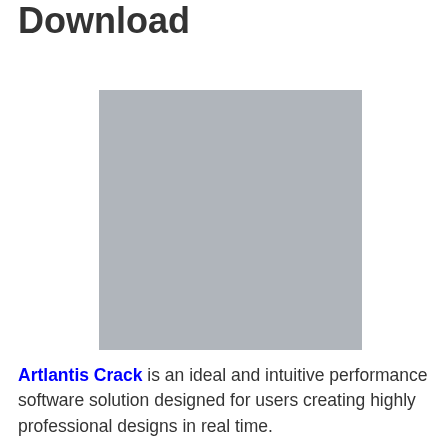Download
[Figure (photo): Gray placeholder image rectangle]
Artlantis Crack is an ideal and intuitive performance software solution designed for users creating highly professional designs in real time.